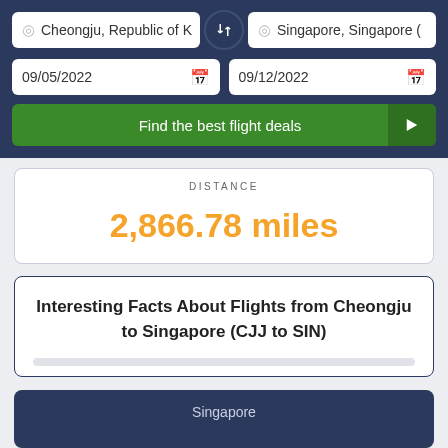Cheongju, Republic of K
Singapore, Singapore (
09/05/2022
09/12/2022
Find the best flight deals
DISTANCE
2,866.78 miles
Interesting Facts About Flights from Cheongju to Singapore (CJJ to SIN)
Singapore